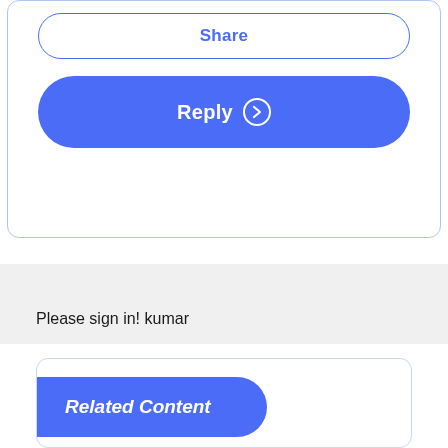[Figure (screenshot): Share button with blue border and blue text, rounded pill shape]
[Figure (screenshot): Reply button with solid blue background, white text and arrow icon, rounded pill shape]
Please sign in! kumar
Related Content
Account Recon - Complete Dashboard - Non Admin user?
in Marketplace yesterday
Send Dashboards through Parcel Service